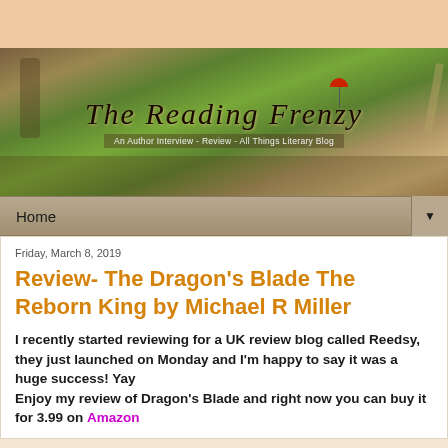[Figure (illustration): Blog banner image for 'The Reading Frenzy' showing an open book with a green landscape scene, a dog figure, a red umbrella figure, a mug, and a pen. Title text reads 'The Reading Frenzy' with subtitle 'An Author Interview - Review - All Things Literary Blog']
Home ▼
Friday, March 8, 2019
Review- The Dragon's Blade The Reborn King by Michael R Miller
I recently started reviewing for a UK review blog called Reedsy, they just launched on Monday and I'm happy to say it was a huge success! Yay
Enjoy my review of Dragon's Blade and right now you can buy it for 3.99 on Amazon